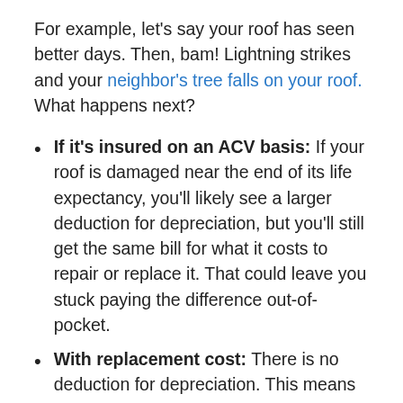For example, let's say your roof has seen better days. Then, bam! Lightning strikes and your neighbor's tree falls on your roof. What happens next?
If it's insured on an ACV basis: If your roof is damaged near the end of its life expectancy, you'll likely see a larger deduction for depreciation, but you'll still get the same bill for what it costs to repair or replace it. That could leave you stuck paying the difference out-of-pocket.
With replacement cost: There is no deduction for depreciation. This means you may pay a little more in premium for that policy (vs. ACV) –but